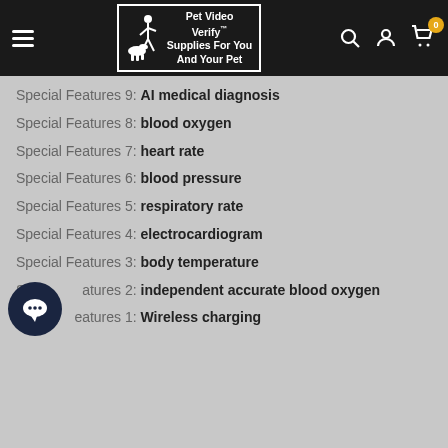Pet Video Verify™ Supplies For You And Your Pet
Special Features 9: AI medical diagnosis
Special Features 8: blood oxygen
Special Features 7: heart rate
Special Features 6: blood pressure
Special Features 5: respiratory rate
Special Features 4: electrocardiogram
Special Features 3: body temperature
Special Features 2: independent accurate blood oxygen
Special Features 1: Wireless charging